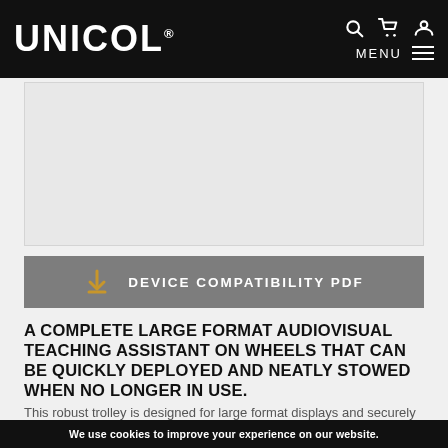UNICOL
[Figure (photo): Product image area (gray placeholder)]
↓ DEVICE COMPATIBILITY PDF
A COMPLETE LARGE FORMAT AUDIOVISUAL TEACHING ASSISTANT ON WHEELS THAT CAN BE QUICKLY DEPLOYED AND NEATLY STOWED WHEN NO LONGER IN USE.
This robust trolley is designed for large format displays and securely houses your favourite PCs and controllers. Utilise the manoeuvrability handles, these trolleys can quickly turn on
We use cookies to improve your experience on our website.